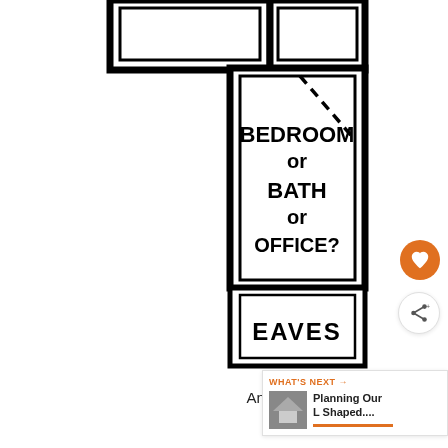[Figure (engineering-diagram): A hand-drawn floor plan showing a partial I-shaped loft conversion. Upper portion shows a room connected to another. The main visible room is labeled 'BEDROOM or BATH or OFFICE?' with a dashed diagonal line in the upper right corner. Below it is a section labeled 'EAVES'. The drawing uses thick black marker lines on white background.]
An I shaped conversion floor plan with two different rooms